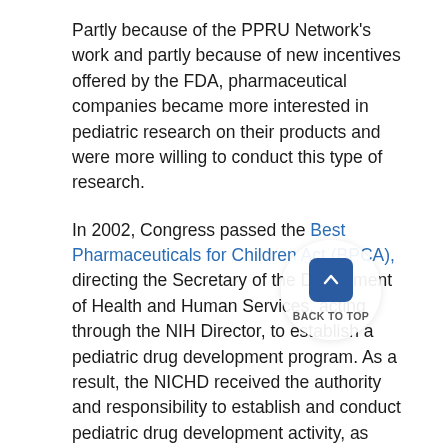Partly because of the PPRU Network's work and partly because of new incentives offered by the FDA, pharmaceutical companies became more interested in pediatric research on their products and were more willing to conduct this type of research.
In 2002, Congress passed the Best Pharmaceuticals for Children Act (BPCA), directing the Secretary of the Department of Health and Human Services, acting through the NIH Director, to establish a pediatric drug development program. As a result, the NICHD received the authority and responsibility to establish and conduct pediatric drug development activity, as specified.
NICHD responsibilities under the BPCA include:
Assessing the availability of information about